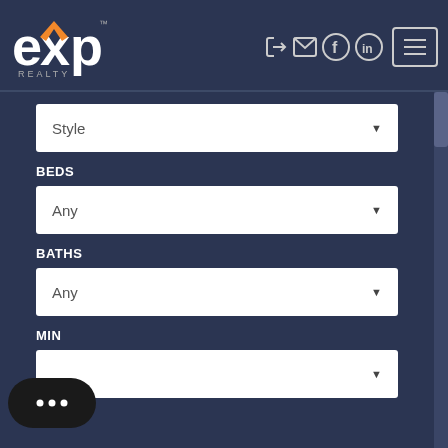[Figure (logo): eXp Realty logo in white and orange on dark navy background]
[Figure (screenshot): Navigation icons: login arrow, mail, Facebook circle, LinkedIn circle, and hamburger menu button]
Style
BEDS
Any
BATHS
Any
MIN
MAX